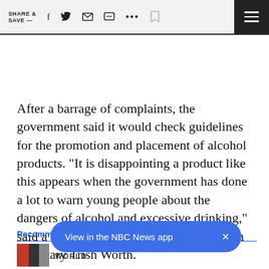SHARE & SAVE —  [facebook] [twitter] [email] [message] [more] [bookmark] [menu]
After a barrage of complaints, the government said it would check guidelines for the promotion and placement of alcohol products. “It is disappointing a product like this appears when the government has done a lot to warn young people about the dangers of alcohol and excessive drinking,” said a spokesman for Parliamentary Health Secretary Trish Worth.
View in the NBC News app  ×
Recomm
WORLD